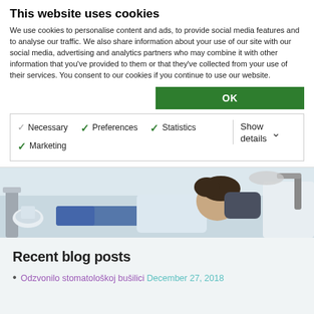This website uses cookies
We use cookies to personalise content and ads, to provide social media features and to analyse our traffic. We also share information about your use of our site with our social media, advertising and analytics partners who may combine it with other information that you've provided to them or that they've collected from your use of their services. You consent to our cookies if you continue to use our website.
OK
Necessary  Preferences  Statistics  Marketing  Show details
[Figure (photo): Patient reclining in a dental chair at a dental office, with dental equipment visible including a sink/spittoon, overhead light, and dental tools. A dental professional in white coat is partially visible.]
Recent blog posts
Odzvonilo stomatološkoj bušilici December 27, 2018